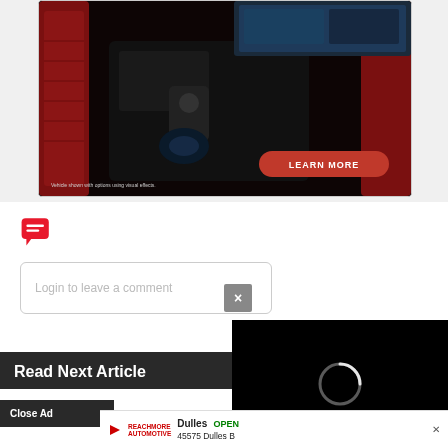[Figure (photo): Car interior advertisement showing red leather seats, center console, infotainment screen with a red 'LEARN MORE' button overlay and disclaimer text 'Vehicle shown with options using visual effects.']
[Figure (illustration): Red chat/message bubble icon with horizontal lines inside]
Login to leave a comment
×
Read Next Article
Close Ad
[Figure (screenshot): Black video player panel with a loading spinner ring in center]
[Figure (screenshot): Bottom advertisement bar showing Dulles store with OPEN label and address 45575 Dulles B...]